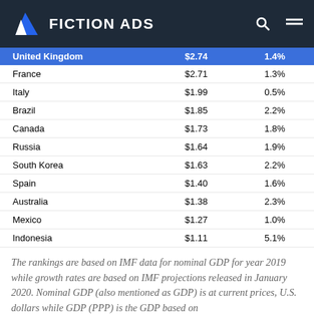FICTION ADS
| Country | GDP | Growth Rate |
| --- | --- | --- |
| United Kingdom | $2.74 | 1.4% |
| France | $2.71 | 1.3% |
| Italy | $1.99 | 0.5% |
| Brazil | $1.85 | 2.2% |
| Canada | $1.73 | 1.8% |
| Russia | $1.64 | 1.9% |
| South Korea | $1.63 | 2.2% |
| Spain | $1.40 | 1.6% |
| Australia | $1.38 | 2.3% |
| Mexico | $1.27 | 1.0% |
| Indonesia | $1.11 | 5.1% |
The rankings are based on IMF data for nominal GDP for year 2019 while growth rates are based on IMF projections released in January 2020. Nominal GDP (also mentioned as GDP) is at current prices, U.S. dollars while GDP (PPP) is the GDP based on